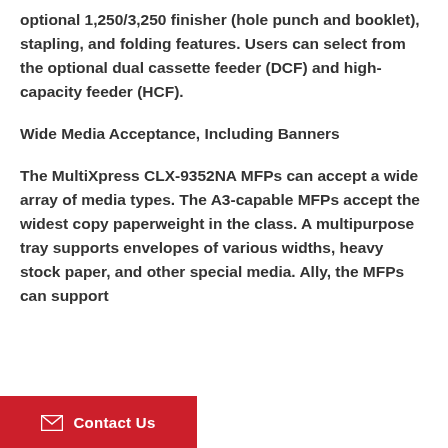optional 1,250/3,250 finisher (hole punch and booklet), stapling, and folding features. Users can select from the optional dual cassette feeder (DCF) and high-capacity feeder (HCF).
Wide Media Acceptance, Including Banners
The MultiXpress CLX-9352NA MFPs can accept a wide array of media types. The A3-capable MFPs accept the widest copy paperweight in the class. A multipurpose tray supports envelopes of various widths, heavy stock paper, and other special media. Additionally, the MFPs can support